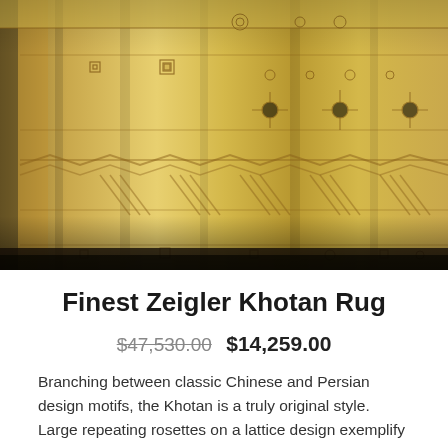[Figure (photo): Close-up photograph of a Zeigler Khotan rug with golden yellow tones featuring geometric and floral motifs including lattice patterns, rosettes, chevrons, and symbolic designs typical of Chinese-Persian fusion style.]
Finest Zeigler Khotan Rug
$47,530.00  $14,259.00
Branching between classic Chinese and Persian design motifs, the Khotan is a truly original style.  Large repeating rosettes on a lattice design exemplify this style of rug, and